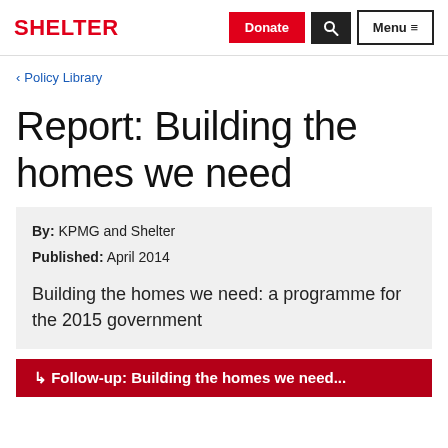SHELTER | Donate | Search | Menu
< Policy Library
Report: Building the homes we need
By: KPMG and Shelter
Published: April 2014
Building the homes we need: a programme for the 2015 government
↳ Follow-up: Building the homes we need...